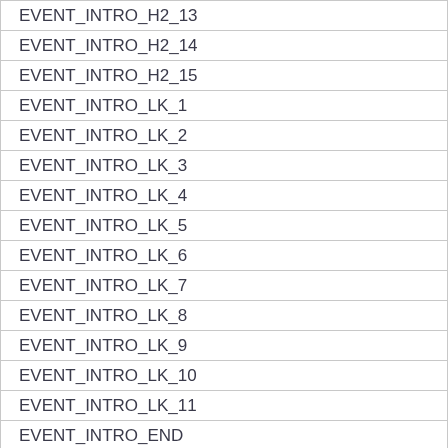| EVENT_INTRO_H2_13 |
| EVENT_INTRO_H2_14 |
| EVENT_INTRO_H2_15 |
| EVENT_INTRO_LK_1 |
| EVENT_INTRO_LK_2 |
| EVENT_INTRO_LK_3 |
| EVENT_INTRO_LK_4 |
| EVENT_INTRO_LK_5 |
| EVENT_INTRO_LK_6 |
| EVENT_INTRO_LK_7 |
| EVENT_INTRO_LK_8 |
| EVENT_INTRO_LK_9 |
| EVENT_INTRO_LK_10 |
| EVENT_INTRO_LK_11 |
| EVENT_INTRO_END |
| EVENT_ESCAPE |
| EVENT_ESCAPE_1 |